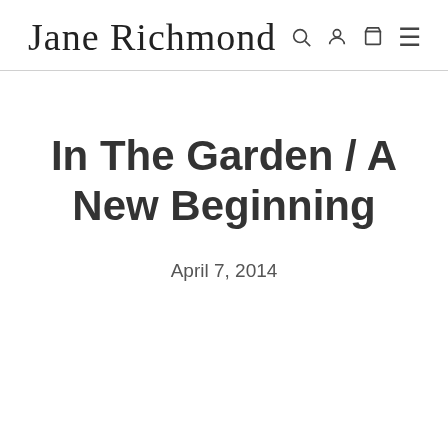Jane Richmond
In The Garden / A New Beginning
April 7, 2014